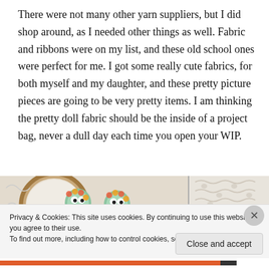There were not many other yarn suppliers, but I did shop around, as I needed other things as well. Fabric and ribbons were on my list, and these old school ones were perfect for me. I got some really cute fabrics, for both myself and my daughter, and these pretty picture pieces are going to be very pretty items. I am thinking the pretty doll fabric should be the inside of a project bag, never a dull day each time you open your WIP.
[Figure (photo): Two photos side by side: left shows a round embroidery hoop with two cute owl-shaped buttons/decorations with colorful flower designs on white lace fabric; right shows close-up of white lace/crochet fabric.]
Privacy & Cookies: This site uses cookies. By continuing to use this website, you agree to their use.
To find out more, including how to control cookies, see here: Cookie Policy
Close and accept